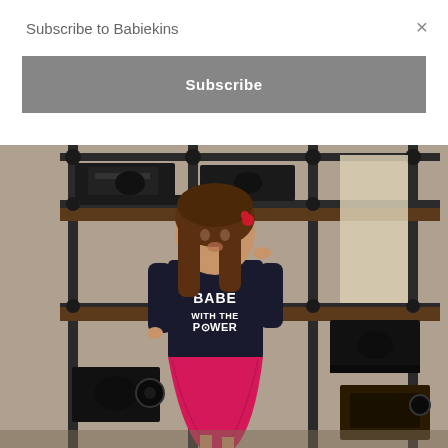Subscribe to Babiekins
×
[Figure (photo): Subscribe button (dark gray, full width, white bold text 'Subscribe')]
[Figure (photo): Young girl wearing a dark navy t-shirt that says 'BABE WITH THE POWER' and a bright pink skirt, standing in a room full of antique sewing machines on metal pipe shelving. She has long brown hair with a small red hair accessory.]